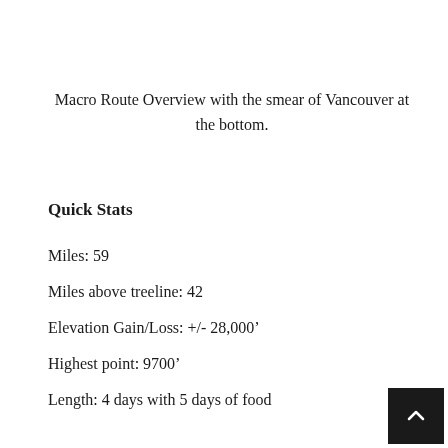Macro Route Overview with the smear of Vancouver at the bottom.
Quick Stats
Miles: 59
Miles above treeline: 42
Elevation Gain/Loss: +/- 28,000'
Highest point: 9700'
Length: 4 days with 5 days of food